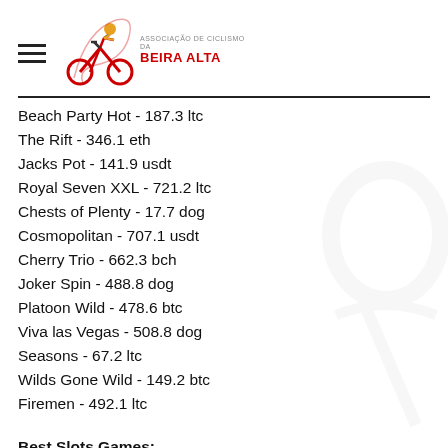[Figure (logo): Associação de Ciclismo da Beira Alta logo with cyclist icon and red/yellow text]
Beach Party Hot - 187.3 ltc
The Rift - 346.1 eth
Jacks Pot - 141.9 usdt
Royal Seven XXL - 721.2 ltc
Chests of Plenty - 17.7 dog
Cosmopolitan - 707.1 usdt
Cherry Trio - 662.3 bch
Joker Spin - 488.8 dog
Platoon Wild - 478.6 btc
Viva las Vegas - 508.8 dog
Seasons - 67.2 ltc
Wilds Gone Wild - 149.2 btc
Firemen - 492.1 ltc
Best Slots Games:
BitStarz Casino Firemen
CryptoWild Casino Wild Turkey